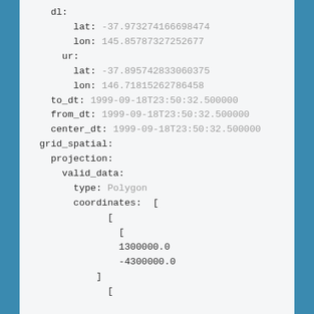dl:
    lat: -37.973274166698474
    lon: 145.85787327252677
  ur:
    lat: -37.895742833060375
    lon: 146.71815262786458
  to_dt: 1999-09-18T23:50:32.500000
  from_dt: 1999-09-18T23:50:32.500000
  center_dt: 1999-09-18T23:50:32.500000
grid_spatial:
  projection:
    valid_data:
      type: Polygon
      coordinates:  [
            [
              [
              1300000.0
              -4300000.0
            ]
              [